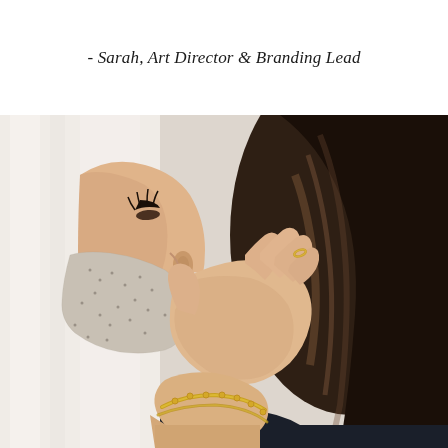- Sarah, Art Director & Branding Lead
[Figure (photo): Side profile of a woman wearing a light grey speckled face mask, adjusting the mask ear loop with her right hand, which has a delicate gold ring and a gold chain bracelet. She has long dark wavy hair. Background is a soft white/cream fabric. Photo is in colour with soft, bright lighting.]